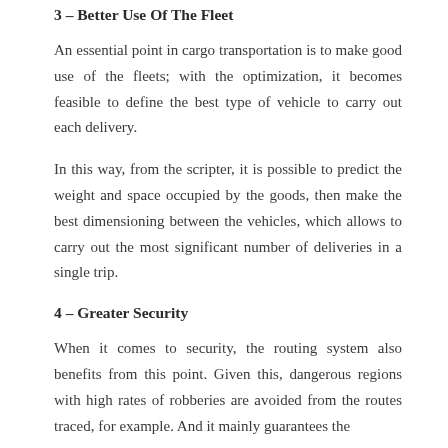3 – Better Use Of The Fleet
An essential point in cargo transportation is to make good use of the fleets; with the optimization, it becomes feasible to define the best type of vehicle to carry out each delivery.
In this way, from the scripter, it is possible to predict the weight and space occupied by the goods, then make the best dimensioning between the vehicles, which allows to carry out the most significant number of deliveries in a single trip.
4 – Greater Security
When it comes to security, the routing system also benefits from this point. Given this, dangerous regions with high rates of robberies are avoided from the routes traced, for example. And it mainly guarantees the